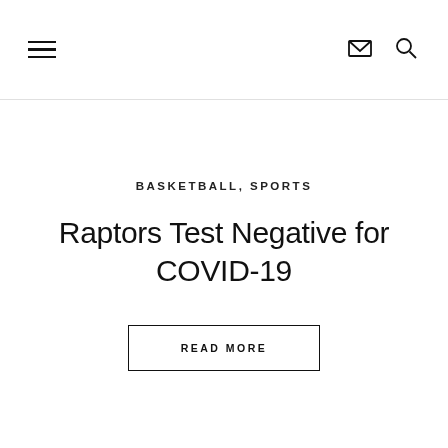Navigation header with hamburger menu, mail icon, and search icon
BASKETBALL, SPORTS
Raptors Test Negative for COVID-19
READ MORE